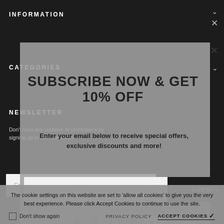INFORMATION
CATEGORIES
NEWSLETTER
Don't miss any updates or promotions by signing up to our newsletter.
SUBSCRIBE NOW & GET 10% OFF
Enter your email below to receive special offers, exclusive discounts and more!
Email address
SUBMIT
The cookie settings on this website are set to 'allow all cookies' to give you the very best experience. Please click Accept Cookies to continue to use the site.
Don't show again
PRIVACY POLICY
ACCEPT COOKIES